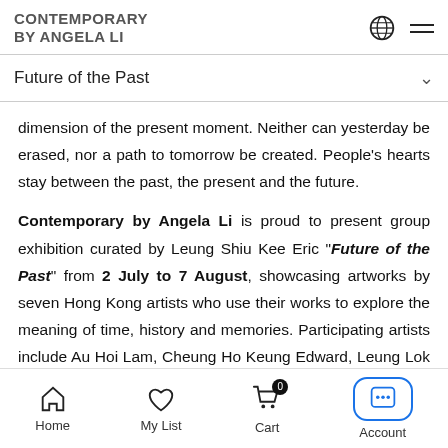CONTEMPORARY BY ANGELA LI
Future of the Past
dimension of the present moment. Neither can yesterday be erased, nor a path to tomorrow be created. People's hearts stay between the past, the present and the future.
Contemporary by Angela Li is proud to present group exhibition curated by Leung Shiu Kee Eric "Future of the Past" from 2 July to 7 August, showcasing artworks by seven Hong Kong artists who use their works to explore the meaning of time, history and memories. Participating artists include Au Hoi Lam, Cheung Ho Keung Edward, Leung Lok Hei Giraffe,
Home   My List   Cart   Account